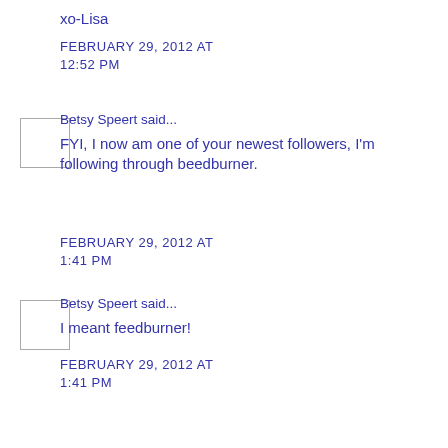xo-Lisa
FEBRUARY 29, 2012 AT 12:52 PM
Betsy Speert said...
FYI, I now am one of your newest followers, I'm following through beedburner.
FEBRUARY 29, 2012 AT 1:41 PM
Betsy Speert said...
I meant feedburner!
FEBRUARY 29, 2012 AT 1:41 PM